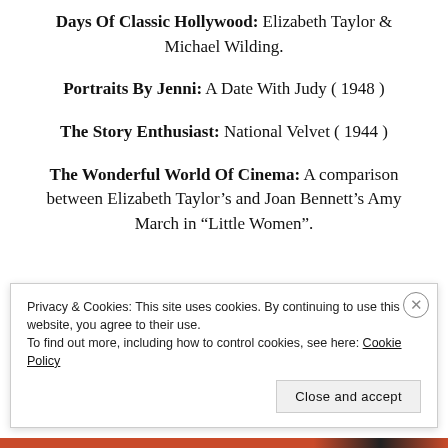Days Of Classic Hollywood: Elizabeth Taylor & Michael Wilding.
Portraits By Jenni: A Date With Judy ( 1948 )
The Story Enthusiast: National Velvet ( 1944 )
The Wonderful World Of Cinema: A comparison between Elizabeth Taylor’s and Joan Bennett’s Amy March in “Little Women”.
Privacy & Cookies: This site uses cookies. By continuing to use this website, you agree to their use.
To find out more, including how to control cookies, see here: Cookie Policy